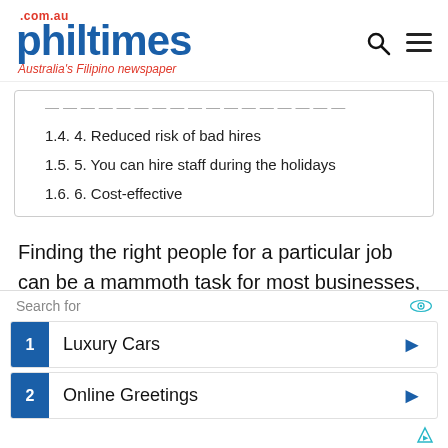philtimes.com.au — Australia's Filipino newspaper
1.4. 4. Reduced risk of bad hires
1.5. 5. You can hire staff during the holidays
1.6. 6. Cost-effective
Finding the right people for a particular job can be a mammoth task for most businesses, especially if they are new ones with little experience in hiring labour. Fortunately, with reliable recruiting agencies offering expert services, hiring people has become considerably
[Figure (screenshot): Ad overlay: Search for — 1 Luxury Cars, 2 Online Greetings]